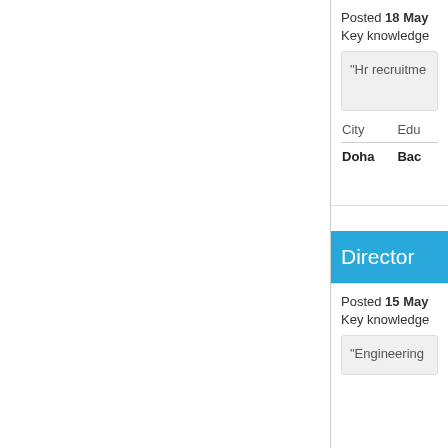Posted 18 May
Key knowledge
"Hr recruitme
| City | Edu |
| --- | --- |
| Doha | Bac |
Director
Posted 15 May
Key knowledge
"Engineering